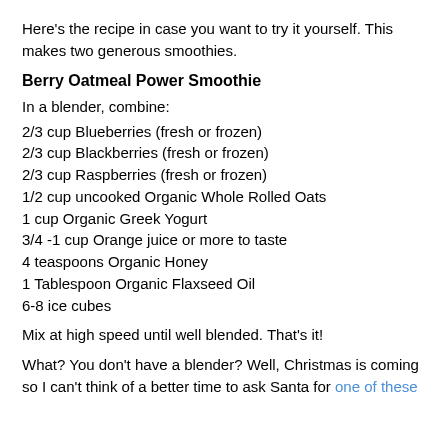Here's the recipe in case you want to try it yourself.  This makes two generous smoothies.
Berry Oatmeal Power Smoothie
In a blender, combine:
2/3 cup Blueberries (fresh or frozen)
2/3 cup Blackberries (fresh or frozen)
2/3 cup Raspberries (fresh or frozen)
1/2 cup uncooked Organic Whole Rolled Oats
1 cup Organic Greek Yogurt
3/4 -1 cup Orange juice or more to taste
4 teaspoons Organic Honey
1 Tablespoon Organic Flaxseed Oil
6-8 ice cubes
Mix at high speed until well blended.  That's it!
What?  You don't have a blender?  Well, Christmas is coming so I can't think of a better time to ask Santa for one of these